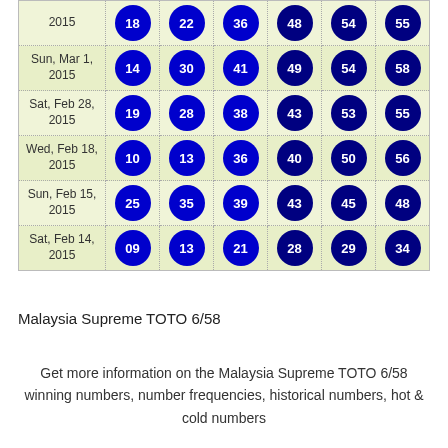| Date | N1 | N2 | N3 | N4 | N5 | N6 |
| --- | --- | --- | --- | --- | --- | --- |
| 2015 | 18 | 22 | 36 | 48 | 54 | 55 |
| Sun, Mar 1, 2015 | 14 | 30 | 41 | 49 | 54 | 58 |
| Sat, Feb 28, 2015 | 19 | 28 | 38 | 43 | 53 | 55 |
| Wed, Feb 18, 2015 | 10 | 13 | 36 | 40 | 50 | 56 |
| Sun, Feb 15, 2015 | 25 | 35 | 39 | 43 | 45 | 48 |
| Sat, Feb 14, 2015 | 09 | 13 | 21 | 28 | 29 | 34 |
Malaysia Supreme TOTO 6/58
Get more information on the Malaysia Supreme TOTO 6/58 winning numbers, number frequencies, historical numbers, hot & cold numbers